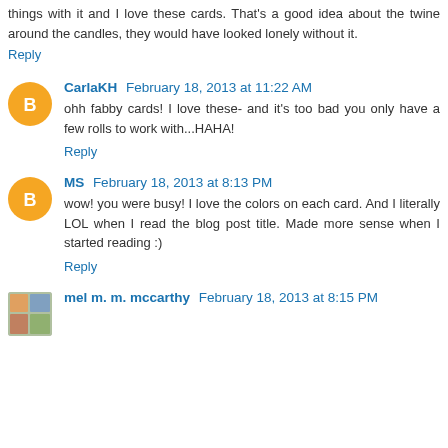things with it and I love these cards. That's a good idea about the twine around the candles, they would have looked lonely without it.
Reply
CarlaKH February 18, 2013 at 11:22 AM
ohh fabby cards! I love these- and it's too bad you only have a few rolls to work with...HAHA!
Reply
MS February 18, 2013 at 8:13 PM
wow! you were busy! I love the colors on each card. And I literally LOL when I read the blog post title. Made more sense when I started reading :)
Reply
mel m. m. mccarthy February 18, 2013 at 8:15 PM